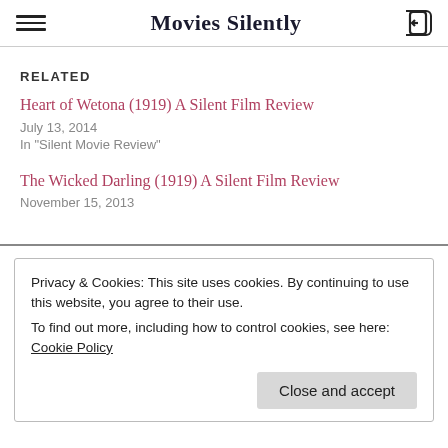Movies Silently
RELATED
Heart of Wetona (1919) A Silent Film Review
July 13, 2014
In "Silent Movie Review"
The Wicked Darling (1919) A Silent Film Review
November 15, 2013
Privacy & Cookies: This site uses cookies. By continuing to use this website, you agree to their use.
To find out more, including how to control cookies, see here: Cookie Policy
Close and accept